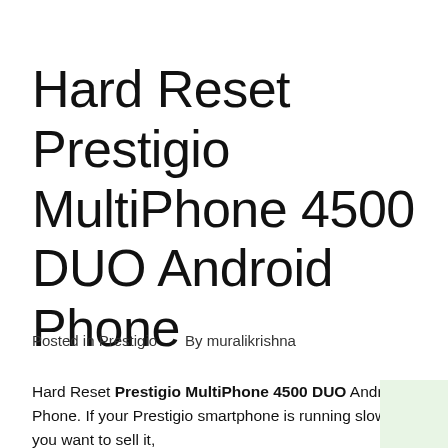Hard Reset Prestigio MultiPhone 4500 DUO Android Phone
Posted in Prestigio    By muralikrishna
Hard Reset Prestigio MultiPhone 4500 DUO Android Phone. If your Prestigio smartphone is running slow or you want to sell it,